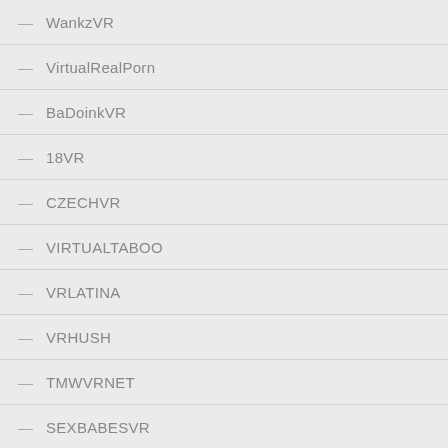WankzVR
VirtualRealPorn
BaDoinkVR
18VR
CZECHVR
VIRTUALTABOO
VRLATINA
VRHUSH
TMWVRNET
SEXBABESVR